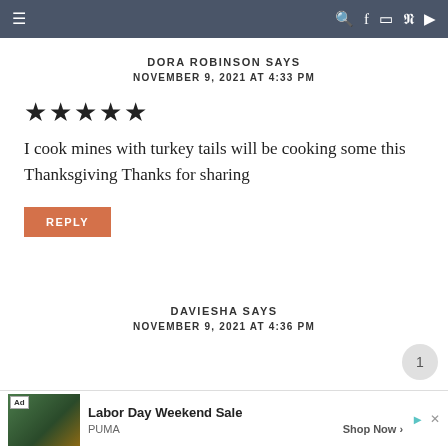≡  🔍 f 📷 p ▶
DORA ROBINSON SAYS
NOVEMBER 9, 2021 AT 4:33 PM
★★★★★
I cook mines with turkey tails will be cooking some this Thanksgiving Thanks for sharing
REPLY
DAVIESHA SAYS
NOVEMBER 9, 2021 AT 4:36 PM
[Figure (screenshot): Advertisement banner: Labor Day Weekend Sale by PUMA with Shop Now link]
Ad  Labor Day Weekend Sale  PUMA  Shop Now >